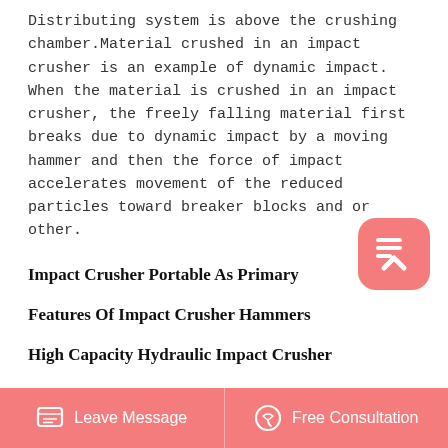Distributing system is above the crushing chamber.Material crushed in an impact crusher is an example of dynamic impact. When the material is crushed in an impact crusher, the freely falling material first breaks due to dynamic impact by a moving hammer and then the force of impact accelerates movement of the reduced particles toward breaker blocks and or other.
[Figure (other): Pink rounded square button with upward chevron/caret icon, used as scroll-to-top button]
Impact Crusher Portable As Primary
Features Of Impact Crusher Hammers
High Capacity Hydraulic Impact Crusher
Impact Crusher Equipment Artificial Sand Making
Leave Message   Free Consultation